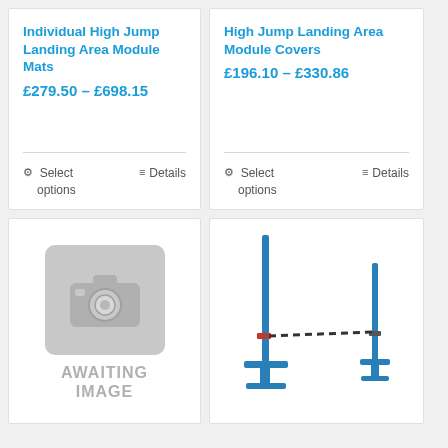Individual High Jump Landing Area Module Mats
£279.50 – £698.15
Select options
Details
High Jump Landing Area Module Covers
£196.10 – £330.86
Select options
Details
[Figure (illustration): Placeholder camera icon with text AWAITING IMAGE]
[Figure (photo): High jump bar and stands with dashed bar suspended between two blue metal uprights]